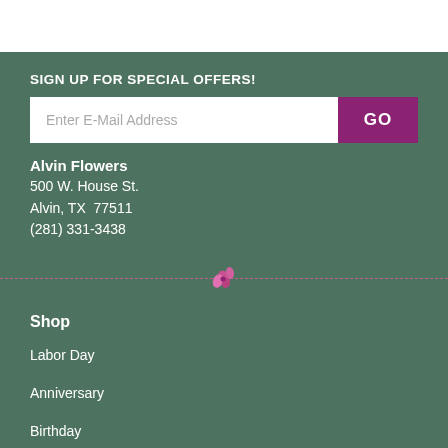SIGN UP FOR SPECIAL OFFERS!
Enter E-Mail Address | GO
Alvin Flowers
500 W. House St.
Alvin, TX  77511
(281) 331-3438
[Figure (illustration): Pink flower/butterfly decorative divider icon on a dashed horizontal line]
Shop
Labor Day
Anniversary
Birthday